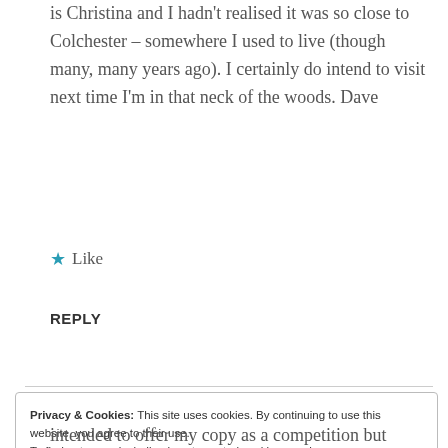is Christina and I hadn't realised it was so close to Colchester – somewhere I used to live (though many, many years ago). I certainly do intend to visit next time I'm in that neck of the woods. Dave
★ Like
REPLY
Privacy & Cookies: This site uses cookies. By continuing to use this website, you agree to their use.
To find out more, including how to control cookies, see here:
Wordpress.com Cookie Policy
Accept and Dismiss
intended to offer my copy as a competition but